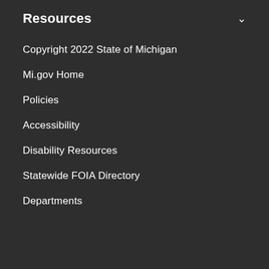Resources
Copyright 2022 State of Michigan
Mi.gov Home
Policies
Accessibility
Disability Resources
Statewide FOIA Directory
Departments